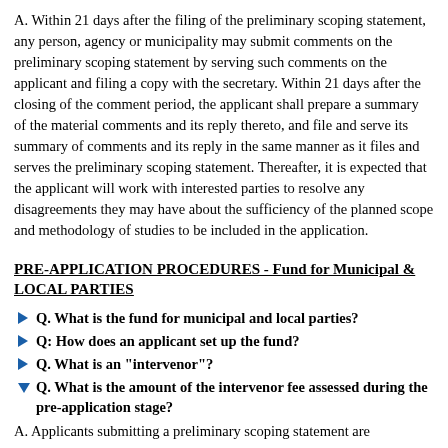A. Within 21 days after the filing of the preliminary scoping statement, any person, agency or municipality may submit comments on the preliminary scoping statement by serving such comments on the applicant and filing a copy with the secretary. Within 21 days after the closing of the comment period, the applicant shall prepare a summary of the material comments and its reply thereto, and file and serve its summary of comments and its reply in the same manner as it files and serves the preliminary scoping statement. Thereafter, it is expected that the applicant will work with interested parties to resolve any disagreements they may have about the sufficiency of the planned scope and methodology of studies to be included in the application.
PRE-APPLICATION PROCEDURES - Fund for Municipal & LOCAL PARTIES
Q. What is the fund for municipal and local parties?
Q: How does an applicant set up the fund?
Q. What is an "intervenor"?
Q. What is the amount of the intervenor fee assessed during the pre-application stage?
A. Applicants submitting a preliminary scoping statement are